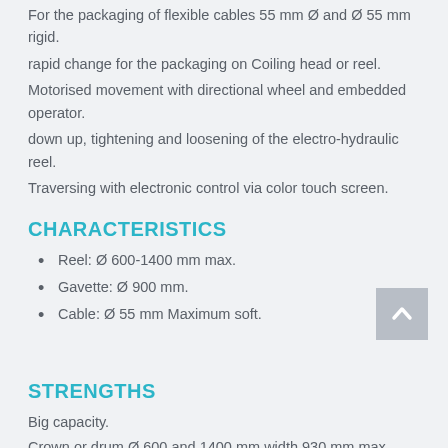For the packaging of flexible cables 55 mm Ø and Ø 55 mm rigid.
rapid change for the packaging on Coiling head or reel.
Motorised movement with directional wheel and embedded operator.
down up, tightening and loosening of the electro-hydraulic reel.
Traversing with electronic control via color touch screen.
CHARACTERISTICS
Reel: Ø 600-1400 mm max.
Gavette: Ø 900 mm.
Cable: Ø 55 mm Maximum soft.
STRENGTHS
Big capacity.
Crown or drum Ø 600 and 1400 mm width 930 mm max.